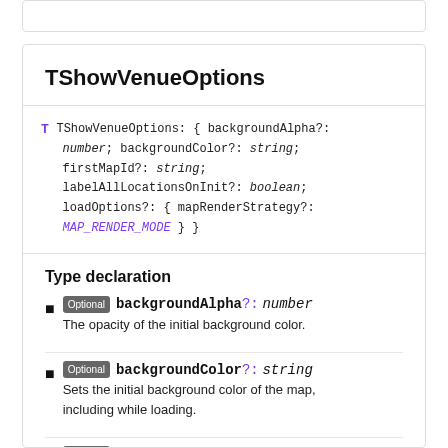TShowVenueOptions
T TShowVenueOptions: { backgroundAlpha?: number; backgroundColor?: string; firstMapId?: string; labelAllLocationsOnInit?: boolean; loadOptions?: { mapRenderStrategy?: MAP_RENDER_MODE } }
Type declaration
Optional backgroundAlpha?: number — The opacity of the initial background color.
Optional backgroundColor?: string — Sets the initial background color of the map, including while loading.
Optional firstMapId?: string